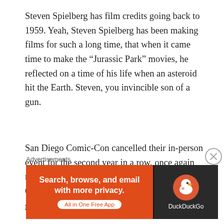Steven Spielberg has film credits going back to 1959. Yeah, Steven Spielberg has been making films for such a long time, that when it came time to make the “Jurassic Park” movies, he reflected on a time of his life when an asteroid hit the Earth. Steven, you invincible son of a gun.
San Diego Comic-Con cancelled their in-person event for the second year in a row, once again resorting to their Comic-Con at Home concept. On the bright side, a lot of the core demographic going will not have to face a
Advertisements
[Figure (other): DuckDuckGo advertisement banner: orange left panel with text 'Search, browse, and email with more privacy. All in One Free App' and dark right panel with DuckDuckGo duck logo and brand name.]